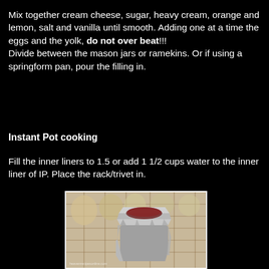Mix together cream cheese, sugar, heavy cream, orange and lemon, salt and vanilla until smooth. Adding one at a time the eggs and the yolk, do not over beat!!! Divide between the mason jars or ramekins. Or if using a springform pan, pour the filling in.
Instant Pot cooking
Fill the inner liners to 1.5 or add 1 1/2 cups water to the inner liner of IP. Place the rack/trivet in.
[Figure (photo): Photo of cheesecake wrapped in aluminum foil in mason jars and ramekins on a checkered cloth, with a watermark at the bottom left.]